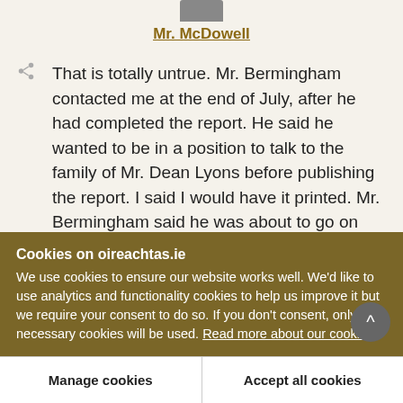Mr. McDowell
That is totally untrue. Mr. Bermingham contacted me at the end of July, after he had completed the report. He said he wanted to be in a position to talk to the family of Mr. Dean Lyons before publishing the report. I said I would have it printed. Mr. Bermingham said he was about to go on holidays but that he would be back in September
Cookies on oireachtas.ie
We use cookies to ensure our website works well. We'd like to use analytics and functionality cookies to help us improve it but we require your consent to do so. If you don't consent, only necessary cookies will be used. Read more about our cookies
Manage cookies
Accept all cookies